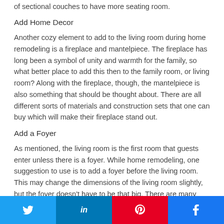of sectional couches to have more seating room.
Add Home Decor
Another cozy element to add to the living room during home remodeling is a fireplace and mantelpiece. The fireplace has long been a symbol of unity and warmth for the family, so what better place to add this then to the family room, or living room? Along with the fireplace, though, the mantelpiece is also something that should be thought about. There are all different sorts of materials and construction sets that one can buy which will make their fireplace stand out.
Add a Foyer
As mentioned, the living room is the first room that guests enter unless there is a foyer. While home remodeling, one suggestion to use is to add a foyer before the living room. This may change the dimensions of the living room slightly, but the foyer doesn't have to be that big. There are many different dimensions that homeowners use for their foyer, but this is an excellent way to add style to your
[Figure (other): Social sharing buttons for Twitter, LinkedIn, Pinterest, and Facebook]